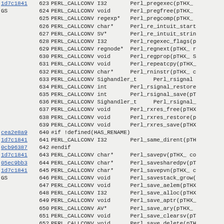| hash | line | code |
| --- | --- | --- |
| 1d7c1841 | 623 | PERL_CALLCONV I32       Perl_pregexec(pTHX_ |
| GS | 624 | PERL_CALLCONV void      Perl_pregfree(pTHX_ |
|  | 625 | PERL_CALLCONV regexp*   Perl_pregcomp(pTHX_ |
|  | 626 | PERL_CALLCONV char*     Perl_re_intuit_start |
|  | 627 | PERL_CALLCONV SV*       Perl_re_intuit_strin |
|  | 628 | PERL_CALLCONV I32       Perl_regexec_flags(p |
|  | 629 | PERL_CALLCONV regnode*  Perl_regnext(pTHX_ r |
|  | 630 | PERL_CALLCONV void      Perl_regprop(pTHX_ S |
|  | 631 | PERL_CALLCONV void      Perl_repeatcpy(pTHX_ |
|  | 632 | PERL_CALLCONV char*     Perl_rninstr(pTHX_ c |
|  | 633 | PERL_CALLCONV Sighandler_t      Perl_rsignal |
|  | 634 | PERL_CALLCONV int       Perl_rsignal_restore |
|  | 635 | PERL_CALLCONV int       Perl_rsignal_save(pT |
|  | 636 | PERL_CALLCONV Sighandler_t      Perl_rsignal_ |
|  | 637 | PERL_CALLCONV void      Perl_rxres_free(pTHX |
|  | 638 | PERL_CALLCONV void      Perl_rxres_restore(p |
|  | 639 | PERL_CALLCONV void      Perl_rxres_save(pTHX |
| cea2e8a9 | 640 | #if !defined(HAS_RENAME) |
| 1d7c1841 | 641 | PERL_CALLCONV I32       Perl_same_dirent(pTH |
| 0cb96387 | 642 | #endif |
| 1d7c1841 | 643 | PERL_CALLCONV char*     Perl_savepv(pTHX_ co |
| 05ec9bb3 | 644 | PERL_CALLCONV char*     Perl_savesharedpv(pT |
| 1d7c1841 | 645 | PERL_CALLCONV char*     Perl_savepvn(pTHX_ c |
| GS | 646 | PERL_CALLCONV void      Perl_savestack_grow( |
|  | 647 | PERL_CALLCONV void      Perl_save_aelem(pTHX |
|  | 648 | PERL_CALLCONV I32       Perl_save_alloc(pTHX |
|  | 649 | PERL_CALLCONV void      Perl_save_aptr(pTHX_ |
|  | 650 | PERL_CALLCONV AV*       Perl_save_ary(pTHX_ |
|  | 651 | PERL_CALLCONV void      Perl_save_clearsv(pT |
|  | 652 | PERL_CALLCONV void      Perl_save_delete(pTH |
|  | 653 | PERL_CALLCONV void      Perl_save_destructor |
|  | 654 | PERL_CALLCONV void      Perl_save_destructor |